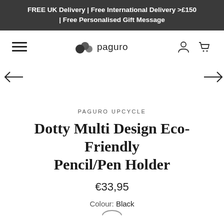FREE UK Delivery | Free International Delivery >£150 | Free Personalised Gift Message
[Figure (logo): Paguro brand logo with shell icon and text 'paguro']
PAGURO UPCYCLE
Dotty Multi Design Eco-Friendly Pencil/Pen Holder
€33,95
Colour: Black